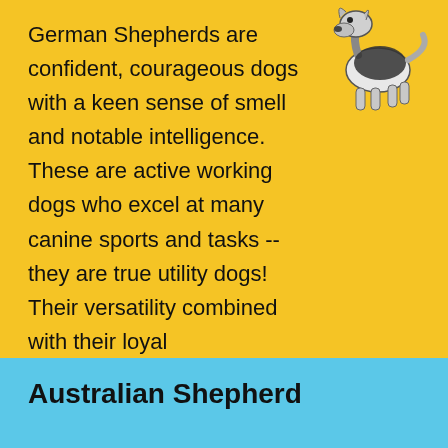[Figure (illustration): Black and white illustration of a German Shepherd dog in a standing/walking pose, upper right corner of yellow section]
German Shepherds are confident, courageous dogs with a keen sense of smell and notable intelligence. These are active working dogs who excel at many canine sports and tasks -- they are true utility dogs! Their versatility combined with their loyal companionship has them consistently listed as one of the most popular breeds in the United States.
LEARN MORE
Australian Shepherd